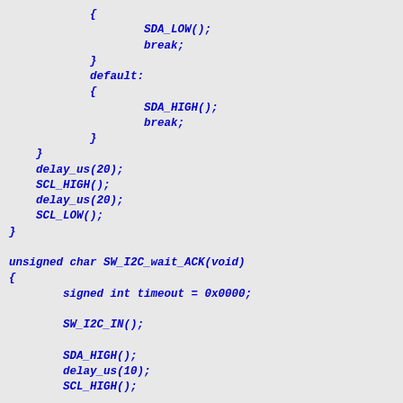{
                    SDA_LOW();
                    break;
            }
            default:
            {
                    SDA_HIGH();
                    break;
            }
    }
    delay_us(20);
    SCL_HIGH();
    delay_us(20);
    SCL_LOW();
}

unsigned char SW_I2C_wait_ACK(void)
{
        signed int timeout = 0x0000;

        SW_I2C_IN();

        SDA_HIGH();
        delay_us(10);
        SCL_HIGH();